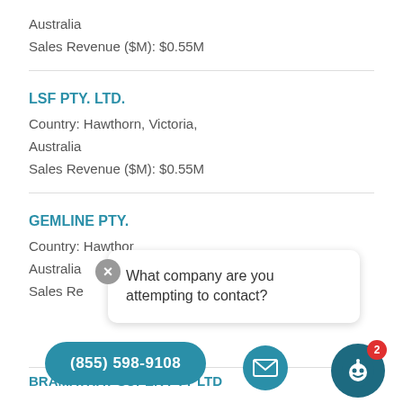Australia
Sales Revenue ($M): $0.55M
LSF PTY. LTD.
Country: Hawthorn, Victoria,
Australia
Sales Revenue ($M): $0.55M
GEMLINE PTY. LTD.
Country: Hawthorn,
Australia
Sales Re...
BRAMATHAY SUPER PTY LTD
[Figure (screenshot): Chat widget overlay showing tooltip 'What company are you attempting to contact?', phone button '(855) 598-9108', email icon button, and chatbot icon with badge showing 2 notifications.]